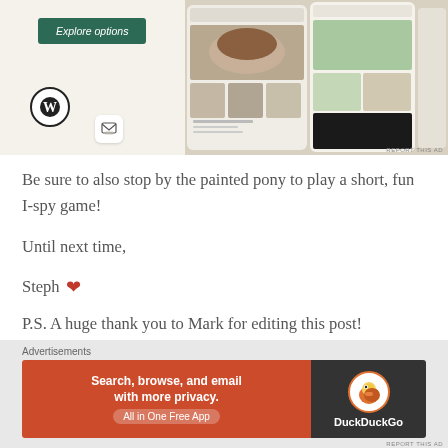[Figure (screenshot): WordPress advertisement banner showing 'Explore options' button on beige background with WordPress logo and food website screenshots]
Be sure to also stop by the painted pony to play a short, fun I-spy game!
Until next time,
Steph ❤
P.S. A huge thank you to Mark for editing this post!
[Figure (screenshot): DuckDuckGo advertisement: 'Search, browse, and email with more privacy. All in One Free App' with DuckDuckGo logo on dark background]